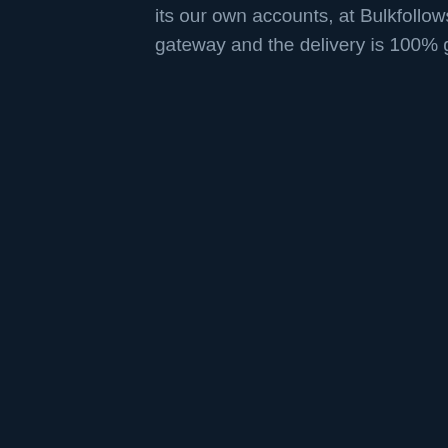its our own accounts, at Bulkfollows all purchase are made safe using Sucure Payment gateway and the delivery is 100% guaranteed.